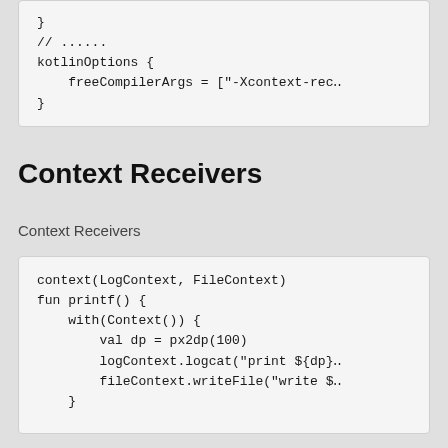[Figure (screenshot): Code block showing kotlinOptions with freeCompilerArgs = ["-Xcontext-rec...]
Context Receivers
Context Receivers
[Figure (screenshot): Code block showing context(LogContext, FileContext) fun printf() { with(Context()) { val dp = px2dp(100) logContext.logcat("print ${dp} logContext.writeFile("write $ }]